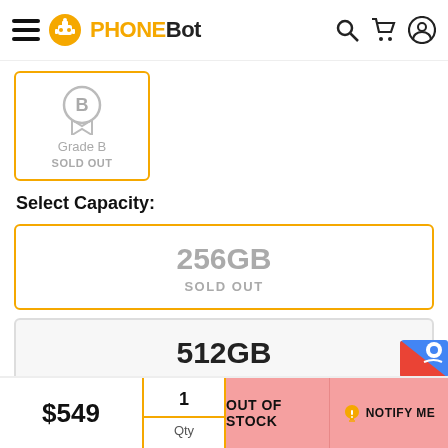PHONEBOT
[Figure (screenshot): Grade B sold out badge with circular medal icon and gold border]
Grade B
SOLD OUT
Select Capacity:
256GB
SOLD OUT
512GB
$649
$549
1
Qty
OUT OF STOCK
NOTIFY ME